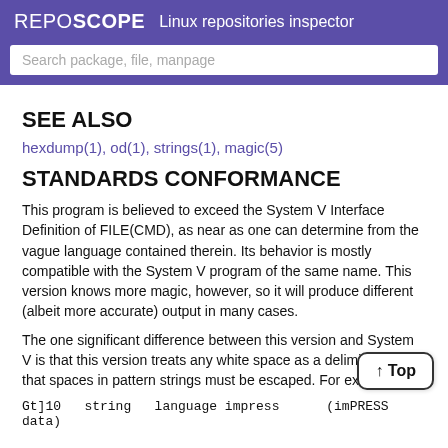REPOSCOPE  Linux repositories inspector
Search package, file, manpage
SEE ALSO
hexdump(1), od(1), strings(1), magic(5)
STANDARDS CONFORMANCE
This program is believed to exceed the System V Interface Definition of FILE(CMD), as near as one can determine from the vague language contained therein. Its behavior is mostly compatible with the System V program of the same name. This version knows more magic, however, so it will produce different (albeit more accurate) output in many cases.
The one significant difference between this version and System V is that this version treats any white space as a delimiter, so that spaces in pattern strings must be escaped. For example,
Gt]10   string   language impress      (imPRESS
data)